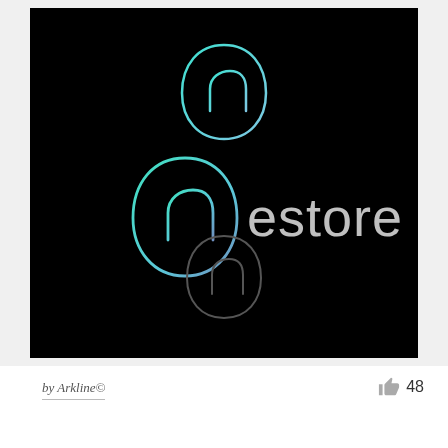[Figure (logo): Black background image showing three variations of the 'nestore' logo. Top: small teal/cyan outlined icon of an egg/arch shape with an 'n' arch at the bottom. Middle: larger version of the same icon in teal/cyan gradient next to the word 'nestore' in light gray sans-serif text. Bottom: small gray/muted version of the same icon.]
by Arkline©
48